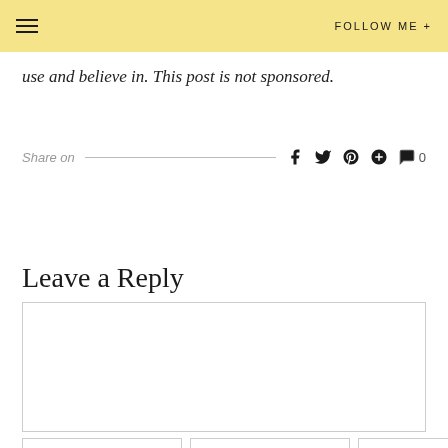FOLLOW ME +
use and believe in. This post is not sponsored.
Share on
Leave a Reply